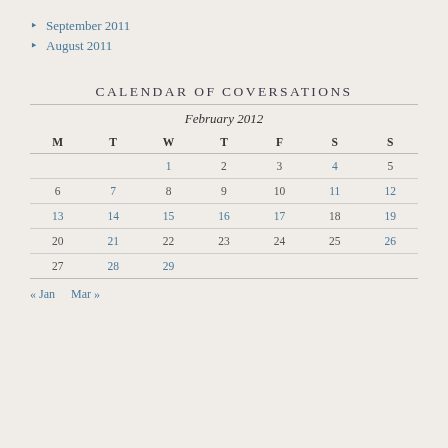September 2011
August 2011
CALENDAR OF COVERSATIONS
| M | T | W | T | F | S | S |
| --- | --- | --- | --- | --- | --- | --- |
|  |  | 1 | 2 | 3 | 4 | 5 |
| 6 | 7 | 8 | 9 | 10 | 11 | 12 |
| 13 | 14 | 15 | 16 | 17 | 18 | 19 |
| 20 | 21 | 22 | 23 | 24 | 25 | 26 |
| 27 | 28 | 29 |  |  |  |  |
« Jan   Mar »